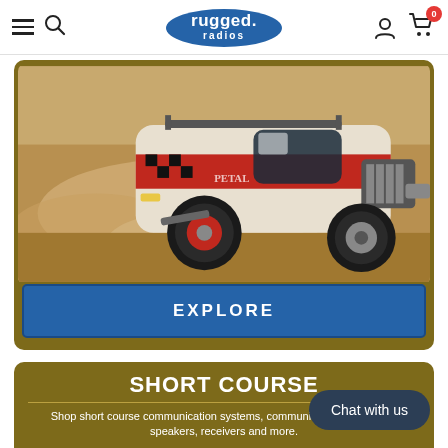rugged. radios — navigation bar with hamburger menu, search, logo, user icon, and cart (0)
[Figure (photo): Off-road race truck (red and white livery with checkered pattern) kicking up dust on a desert course. Below the photo is a blue 'EXPLORE' button with white uppercase text, all inside a dark golden/olive rounded card.]
SHORT COURSE
Shop short course communication systems, communication harnesses, speakers, receivers and more.
Chat with us